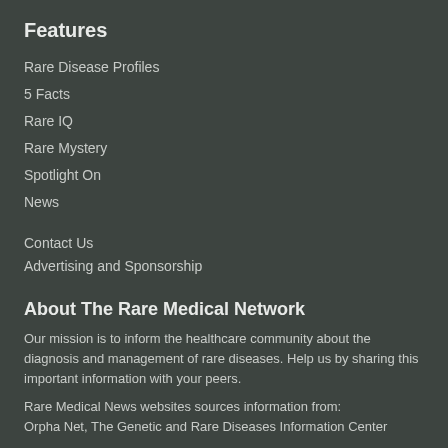Features
Rare Disease Profiles
5 Facts
Rare IQ
Rare Mystery
Spotlight On
News
Contact Us
Advertising and Sponsorship
About The Rare Medical Network
Our mission is to inform the healthcare community about the diagnosis and management of rare diseases. Help us by sharing this important information with your peers.
Rare Medical News websites sources information from:
Orpha Net, The Genetic and Rare Diseases Information Center